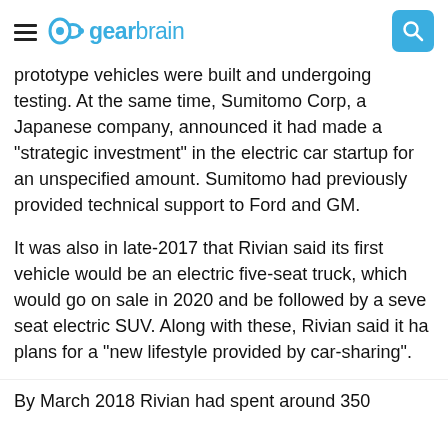gearbrain
prototype vehicles were built and undergoing testing. At the same time, Sumitomo Corp, a Japanese company, announced it had made a "strategic investment" in the electric car startup for an unspecified amount. Sumitomo had previously provided technical support to Ford and GM.
It was also in late-2017 that Rivian said its first vehicle would be an electric five-seat truck, which would go on sale in 2020 and be followed by a seven-seat electric SUV. Along with these, Rivian said it had plans for a "new lifestyle provided by car-sharing".
By March 2018 Rivian had spent around 350...